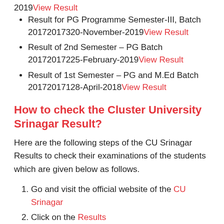2019View Result
Result for PG Programme Semester-III, Batch 20172017320-November-2019View Result
Result of 2nd Semester – PG Batch 20172017225-February-2019View Result
Result of 1st Semester – PG and M.Ed Batch 20172017128-April-2018View Result
How to check the Cluster University Srinagar Result?
Here are the following steps of the CU Srinagar Results to check their examinations of the students which are given below as follows.
Go and visit the official website of the CU Srinagar
Click on the Results
Click on the course that you are attended the exam
Enter the register number
Click on the result...